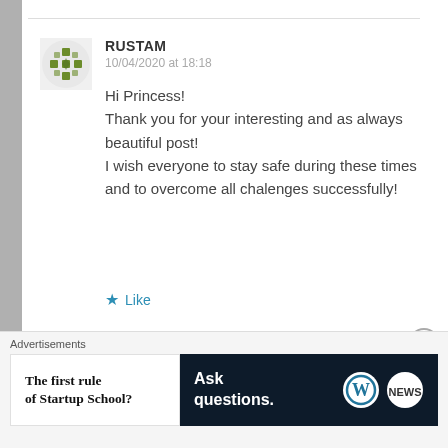[Figure (illustration): User avatar icon with green geometric/floral pattern on light background]
RUSTAM
10/04/2020 at 18:18
Hi Princess!
Thank you for your interesting and as always beautiful post!
I wish everyone to stay safe during these times and to overcome all chalenges successfully!
★ Like
Reply →
Advertisements
[Figure (screenshot): Ad banner: left white panel with bold text 'The first rule of Startup School?', right dark navy panel with 'Ask questions.' text and WordPress and news logos]